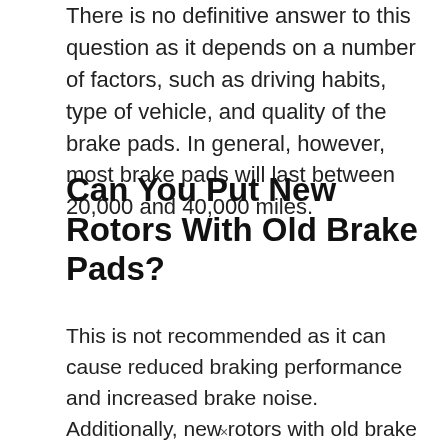There is no definitive answer to this question as it depends on a number of factors, such as driving habits, type of vehicle, and quality of the brake pads. In general, however, most brake pads will last between 20,000 and 40,000 miles.
Can You Put New Rotors With Old Brake Pads?
This is not recommended as it can cause reduced braking performance and increased brake noise. Additionally, new rotors with old brake pads can cause the new rotors to become glazed or warped.
×